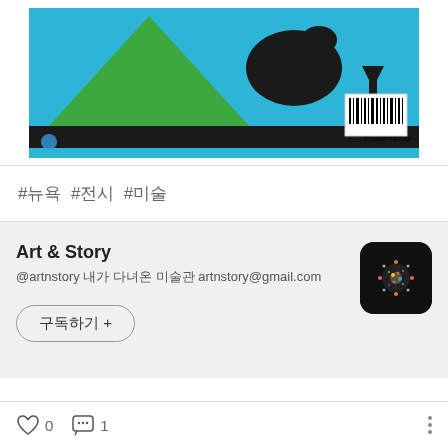[Figure (photo): Book cover with blue background, green triangle shape, black bird silhouettes, dark grass strip at bottom, barcode in bottom right corner]
#뉴욕  #전시  #미술
Art & Story
@artnstory 내가 다녀온 미술관 artnstory@gmail.com
[Figure (illustration): App icon with fireworks/sparkles image on dark background, rounded square shape]
구독하기 +
0  1